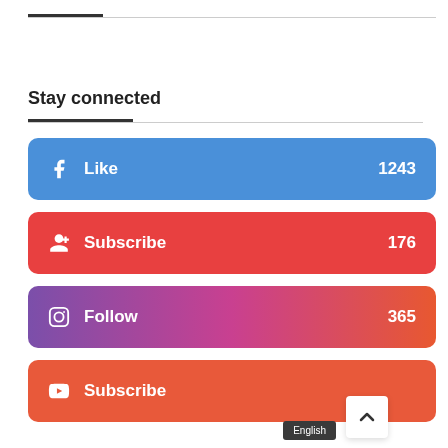Stay connected
f Like 1243
G+ Subscribe 176
Follow 365
Subscribe